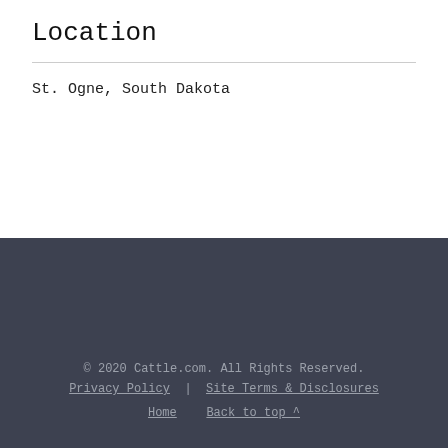Location
St. Ogne, South Dakota
© 2020 Cattle.com. All Rights Reserved. Privacy Policy | Site Terms & Disclosures Home Back to top ^